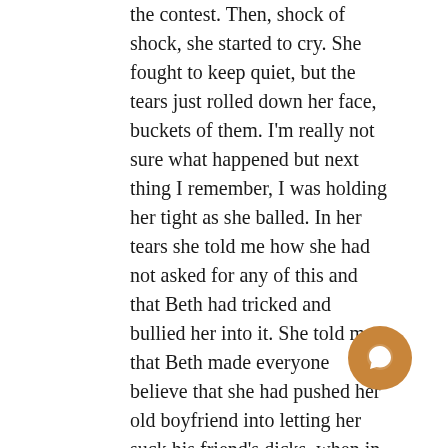the contest. Then, shock of shock, she started to cry. She fought to keep quiet, but the tears just rolled down her face, buckets of them. I'm really not sure what happened but next thing I remember, I was holding her tight as she balled. In her tears she told me how she had not asked for any of this and that Beth had tricked and bullied her into it. She told me that Beth made everyone believe that she had pushed her old boyfriend into letting her suck his friend's dicks, when in fact he had pushed her into it. It was sort of garbled but I understood she thought she deserved to be treated like a whore. She went on about how no decent guy in our school would kiss her now they know how many guys
[Figure (other): Orange circular chat/message button with speech bubble icon]